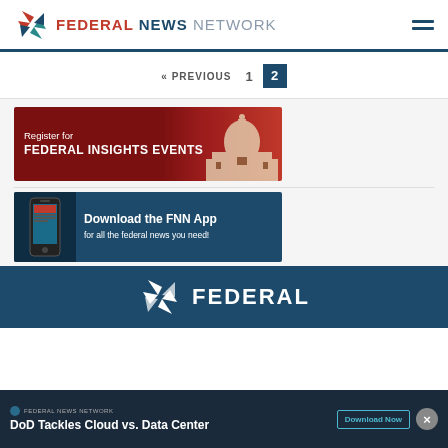Federal News Network
« PREVIOUS  1  2
[Figure (screenshot): Red banner advertisement: Register for FEDERAL INSIGHTS EVENTS with US Capitol building silhouette]
[Figure (screenshot): Blue banner advertisement: Download the FNN App for all the federal news you need!]
[Figure (logo): Federal News Network logo/footer in dark blue background with FEDERAL text]
DoD Tackles Cloud vs. Data Center  Download Now